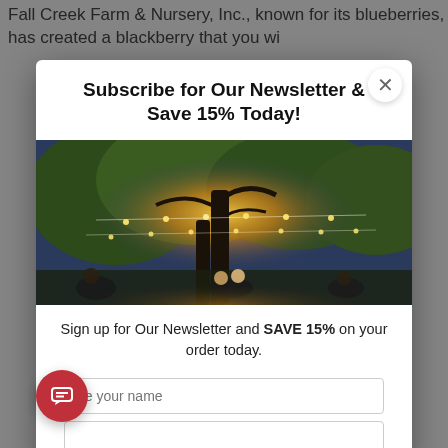Fall Creek Farm & Nursery, Inc., known for its blueberries, has created a blackberry that you wi
Subscribe for Our Newsletter & Save 15% Today!
[Figure (photo): Outdoor evening scene with string lights hanging from a large tree, people socializing below]
Sign up for Our Newsletter and SAVE 15% on your order today.
[Figure (other): Text input field with placeholder text 'pe your name' (partially visible)]
[Figure (other): Red circular chat/message button icon at bottom left of modal]